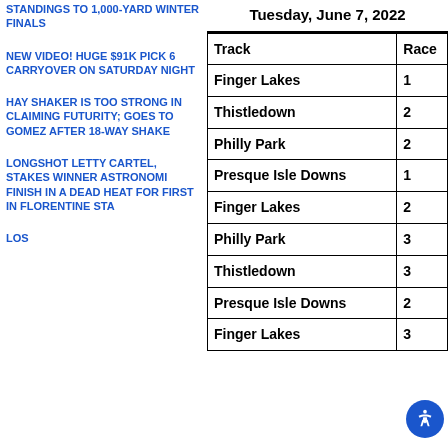STANDINGS TO 1,000-YARD WINTER FINALS
NEW VIDEO! HUGE $91K PICK 6 CARRYOVER ON SATURDAY NIGHT
HAY SHAKER IS TOO STRONG IN CLAIMING FUTURITY; GOES TO GOMEZ AFTER 18-WAY SHAKE
LONGSHOT LETTY CARTEL, STAKES WINNER ASTRONOMI FINISH IN A DEAD HEAT FOR FIRST IN FLORENTINE STA
LOS
Tuesday, June 7, 2022
| Track | Race |
| --- | --- |
| Finger Lakes | 1 |
| Thistledown | 2 |
| Philly Park | 2 |
| Presque Isle Downs | 1 |
| Finger Lakes | 2 |
| Philly Park | 3 |
| Thistledown | 3 |
| Presque Isle Downs | 2 |
| Finger Lakes | 3 |